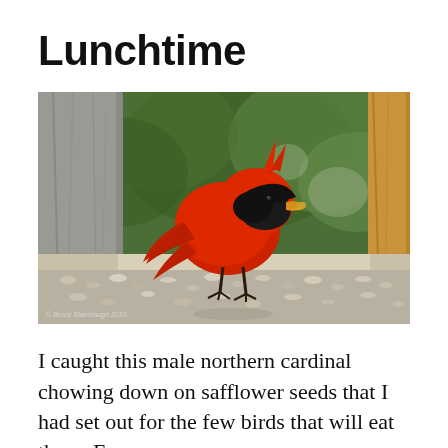Lunchtime
[Figure (photo): A male northern cardinal with bright red plumage and black mask perched at a bird feeder tray filled with safflower seeds. Background shows a blurred green garden and tree trunk. Photo credit: © Bruce Stambaugh 2010]
I caught this male northern cardinal chowing down on safflower seeds that I had set out for the few birds that will eat them. European